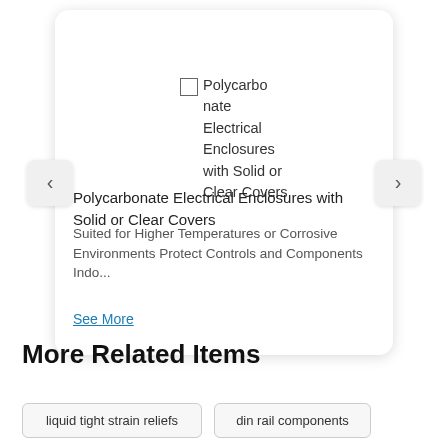[Figure (screenshot): Product card carousel showing a checkbox and text 'Polycarbonate Electrical Enclosures with Solid or Clear Covers' with navigation arrows on left and right]
Polycarbonate Electrical Enclosures with Solid or Clear Covers
Suited for Higher Temperatures or Corrosive Environments Protect Controls and Components Indo...
See More
More Related Items
liquid tight strain reliefs
din rail components